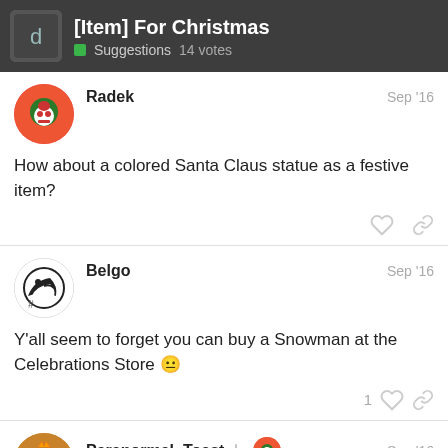[Item] For Christmas — Suggestions 14 votes
Radek
Sep '16
How about a colored Santa Claus statue as a festive item?
Belgo
Sep '16
Y'all seem to forget you can buy a Snowman at the Celebrations Store 😐
1 like
Paranormal_Toast
Sep '16
Santa Claus themed cat sack.
4 / 9